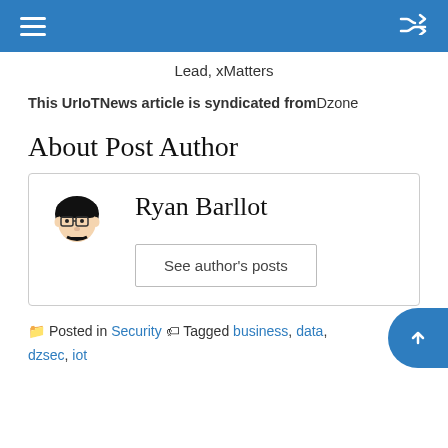Lead, xMatters
This UrIoTNews article is syndicated from Dzone
About Post Author
[Figure (illustration): Author avatar illustration: cartoon face with black hair, glasses, and mustache for Ryan Barllot]
Ryan Barllot
See author's posts
Posted in Security  Tagged business, data, dzsec, iot